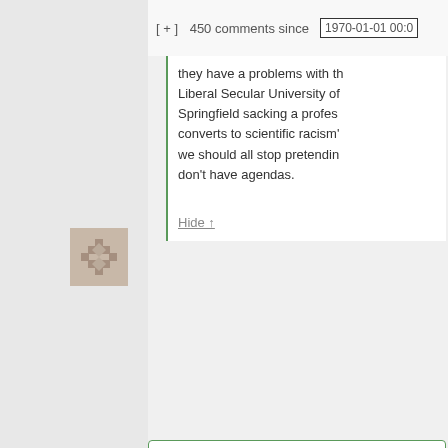[ + ]  450 comments since  1970-01-01 00:0
they have a problems with the Liberal Secular University of Springfield sacking a professor converts to scientific racism' we should all stop pretending don't have agendas.
Hide ↑
Russell says: February 19, 2015 at 1:50 am ~new~
"Everybody knows that gender stereotypes are so fluid and constructed that people used to associate pink with boys and with girls, right?" In Chinese culture, male is red, female is blue. Male is red b men generally have hotter body temperature and are more h headed, i.e. more likely to fight.
Hide